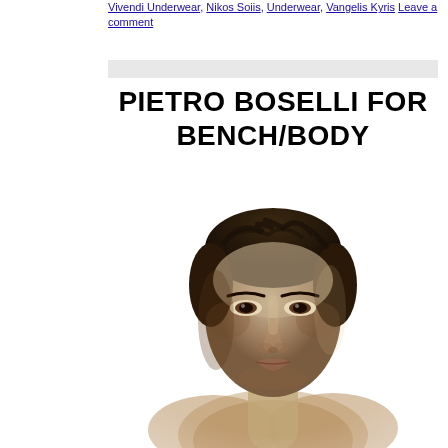Vivendi Underwear, Nikos Soiis, Underwear, Vangelis Kyris Leave a comment
PIETRO BOSELLI FOR BENCH/BODY
[Figure (photo): Black and white portrait photo of a young male model (Pietro Boselli) with dark curly hair, strong facial features, and bare shoulders/chest, looking directly at the camera against a white background.]